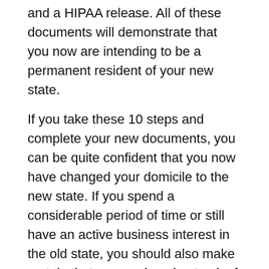and a HIPAA release. All of these documents will demonstrate that you now are intending to be a permanent resident of your new state.
If you take these 10 steps and complete your new documents, you can be quite confident that you now have changed your domicile to the new state. If you spend a considerable period of time or still have an active business interest in the old state, you should also make certain that you are keeping track of the exact number of days that you spend each year in the new state and the old state.
If you pass away with a substantial estate, your heirs will be pleased that you have documented your domicile. Please note that the exemptions for estate tax or inheritance tax may be much lower in many